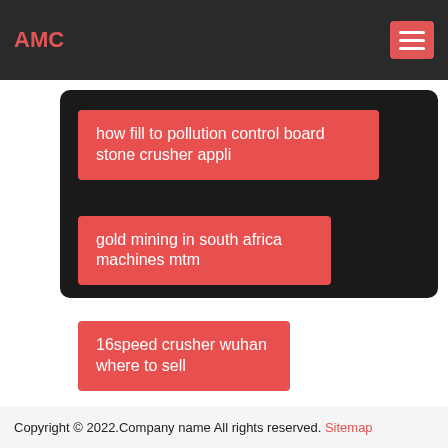AMC
how fill to pollution control board stone crusher appli
gold mining in south africa machines mtm
16speed crusher wuhan where to sell
planetary ball mill hot sale in india
Copyright © 2022.Company name All rights reserved. Sitemap